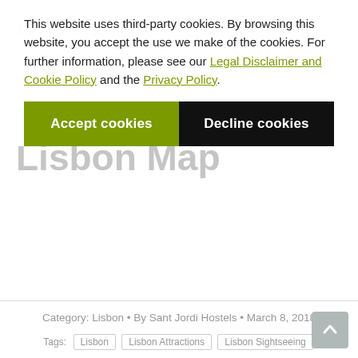This website uses third-party cookies. By browsing this website, you accept the use we make of the cookies. For further information, please see our Legal Disclaimer and Cookie Policy and the Privacy Policy.
Accept cookies | Decline cookies
Category: Lisbon • By Sant Jordi Hostels • March 8, 2018
Tags: Lisbon | Lisbon Attractions | Lisbon Sightseeing
Author: Sant Jordi Hostels
[Figure (illustration): Default user avatar icon — grey silhouette of a person inside a circular frame]